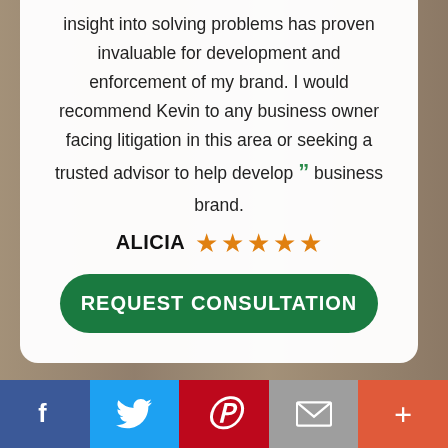insight into solving problems has proven invaluable for development and enforcement of my brand. I would recommend Kevin to any business owner facing litigation in this area or seeking a trusted advisor to help develop business brand.
ALICIA ★★★★★
REQUEST CONSULTATION
OAKLAND OFFICE
[Figure (infographic): Social share bar with Facebook, Twitter, Pinterest, email, and more buttons]